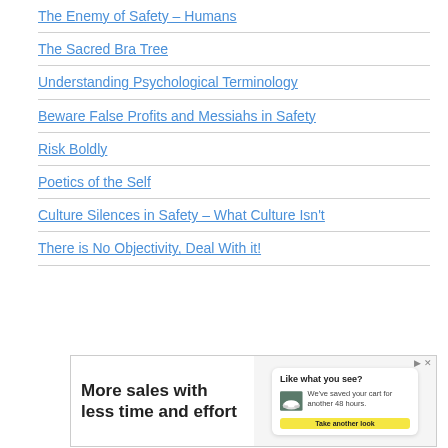The Enemy of Safety – Humans
The Sacred Bra Tree
Understanding Psychological Terminology
Beware False Profits and Messiahs in Safety
Risk Boldly
Poetics of the Self
Culture Silences in Safety – What Culture Isn't
There is No Objectivity, Deal With it!
[Figure (screenshot): Advertisement banner: 'More sales with less time and effort' with a shopping cart widget showing a shoe image and 'Take another look' button]